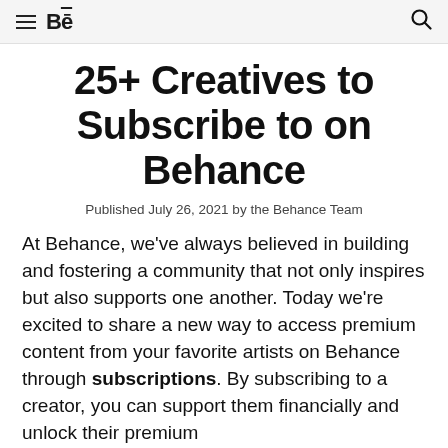≡ Bē 🔍
25+ Creatives to Subscribe to on Behance
Published July 26, 2021 by the Behance Team
At Behance, we've always believed in building and fostering a community that not only inspires but also supports one another. Today we're excited to share a new way to access premium content from your favorite artists on Behance through subscriptions. By subscribing to a creator, you can support them financially and unlock their premium